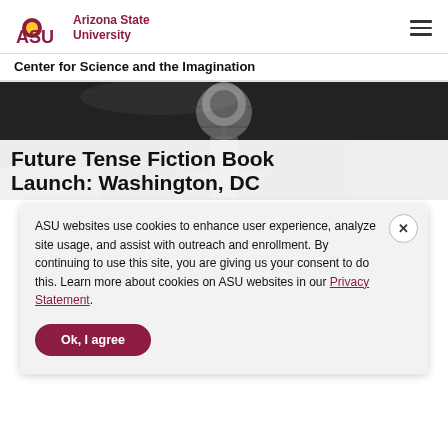ASU Arizona State University | Center for Science and the Imagination
[Figure (photo): Black and white photo of a microphone on a stand, partially visible at the top of the page behind the cookie consent banner.]
Future Tense Fiction Book Launch: Washington, DC
ASU websites use cookies to enhance user experience, analyze site usage, and assist with outreach and enrollment. By continuing to use this site, you are giving us your consent to do this. Learn more about cookies on ASU websites in our Privacy Statement.
Ok, I agree